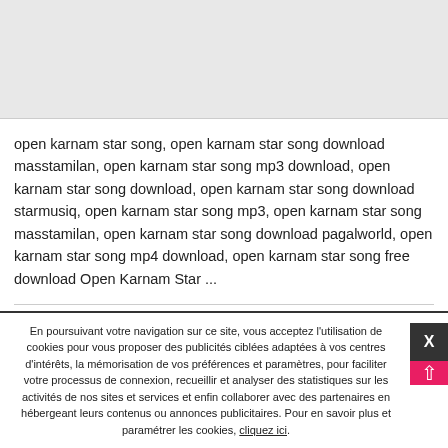[Figure (other): Grey placeholder image area at top of page]
open karnam star song, open karnam star song download masstamilan, open karnam star song mp3 download, open karnam star song download, open karnam star song download starmusiq, open karnam star song mp3, open karnam star song masstamilan, open karnam star song download pagalworld, open karnam star song mp4 download, open karnam star song free download Open Karnam Star ...
En poursuivant votre navigation sur ce site, vous acceptez l'utilisation de cookies pour vous proposer des publicités ciblées adaptées à vos centres d'intérêts, la mémorisation de vos préférences et paramètres, pour faciliter votre processus de connexion, recueillir et analyser des statistiques sur les activités de nos sites et services et enfin collaborer avec des partenaires en hébergeant leurs contenus ou annonces publicitaires. Pour en savoir plus et paramétrer les cookies, cliquez ici.